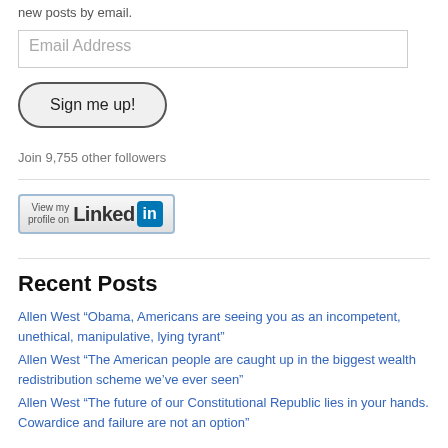new posts by email.
[Figure (screenshot): Email Address input field]
[Figure (screenshot): Sign me up! button]
Join 9,755 other followers
[Figure (screenshot): View my profile on LinkedIn button]
Recent Posts
Allen West “Obama, Americans are seeing you as an incompetent, unethical, manipulative, lying tyrant”
Allen West “The American people are caught up in the biggest wealth redistribution scheme we’ve ever seen”
Allen West “The future of our Constitutional Republic lies in your hands. Cowardice and failure are not an option”